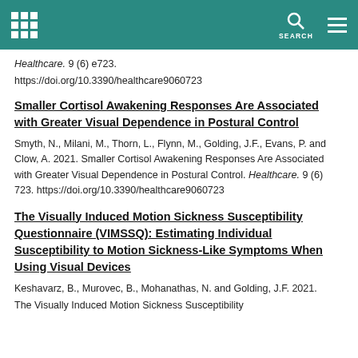SEARCH
Healthcare. 9 (6) e723.
https://doi.org/10.3390/healthcare9060723
Smaller Cortisol Awakening Responses Are Associated with Greater Visual Dependence in Postural Control
Smyth, N., Milani, M., Thorn, L., Flynn, M., Golding, J.F., Evans, P. and Clow, A. 2021. Smaller Cortisol Awakening Responses Are Associated with Greater Visual Dependence in Postural Control. Healthcare. 9 (6) 723. https://doi.org/10.3390/healthcare9060723
The Visually Induced Motion Sickness Susceptibility Questionnaire (VIMSSQ): Estimating Individual Susceptibility to Motion Sickness-Like Symptoms When Using Visual Devices
Keshavarz, B., Murovec, B., Mohanathas, N. and Golding, J.F. 2021.
The Visually Induced Motion Sickness Susceptibility